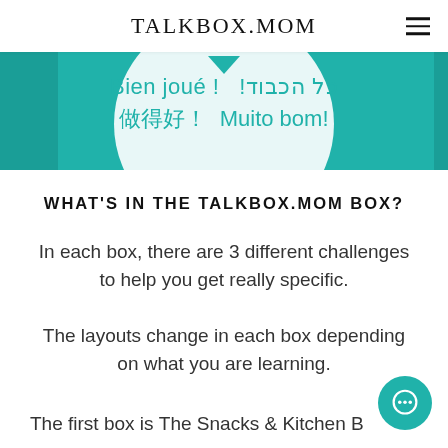TALKBOX.MOM
[Figure (photo): Hero image showing a teal-colored TalkBox.Mom box with multilingual congratulatory phrases: 'Bien joué!', Hebrew text, Chinese text, 'Muito bom!' on a light background circle with a teal arrow pointing down.]
WHAT'S IN THE TALKBOX.MOM BOX?
In each box, there are 3 different challenges to help you get really specific.
The layouts change in each box depending on what you are learning.
The first box is The Snacks & Kitchen B